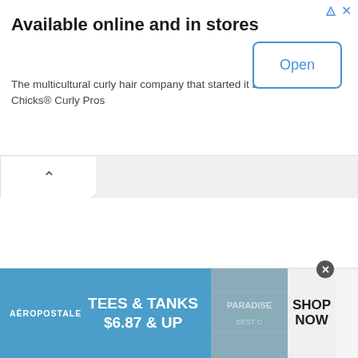Available online and in stores
The multicultural curly hair company that started it all. Mixed Chicks® Curly Pros
[Figure (screenshot): Blue outlined 'Open' button for ad]
[Figure (screenshot): Collapse/chevron tab below top ad]
[Figure (screenshot): Aéropostale banner ad: TEES & TANKS $6.87 & UP with SHOP NOW button and fabric image]
AÉROPOSTALE
TEES & TANKS
$6.87 & UP
SHOP NOW